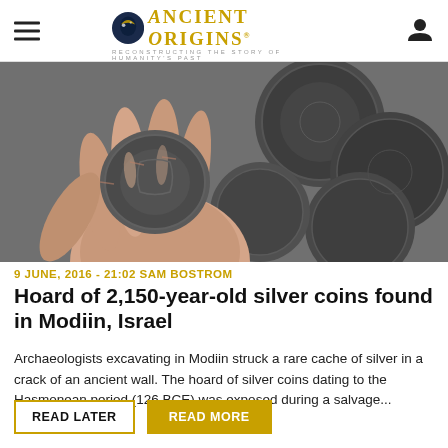Ancient Origins — Reconstructing the story of humanity's past
[Figure (photo): Close-up photograph of a hand holding a dark, aged silver coin with several other similar coins in the background]
9 JUNE, 2016 - 21:02 SAM BOSTROM
Hoard of 2,150-year-old silver coins found in Modiin, Israel
Archaeologists excavating in Modiin struck a rare cache of silver in a crack of an ancient wall. The hoard of silver coins dating to the Hasmonean period (126 BCE) was exposed during a salvage...
READ LATER | READ MORE